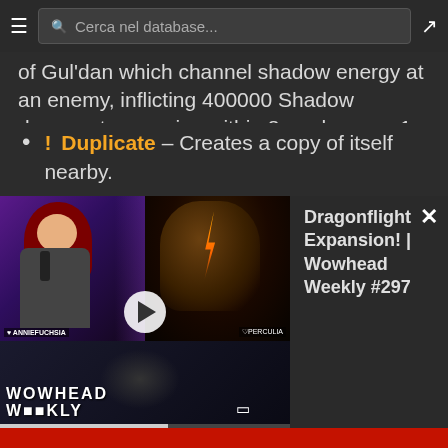Cerca nel database...
of Gul'dan which channel shadow energy at an enemy, inflicting 400000 Shadow damage to enemies within 8 yards every 1 sec. This damage increases by 3% every cast. Upon reaching full power, the Eye of Gul'dan casts Duplicate, creating a copy of itself, then moves to a new location.
! Duplicate – Creates a copy of itself nearby.
[Figure (screenshot): Embedded video player showing Wowhead Weekly #297 Dragonflight Expansion with two streamers visible and a play button overlay]
Dragonflight Expansion! | Wowhead Weekly #297